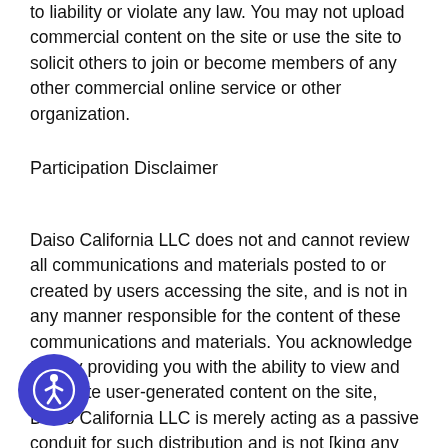to liability or violate any law. You may not upload commercial content on the site or use the site to solicit others to join or become members of any other commercial online service or other organization.
Participation Disclaimer
Daiso California LLC does not and cannot review all communications and materials posted to or created by users accessing the site, and is not in any manner responsible for the content of these communications and materials. You acknowledge that by providing you with the ability to view and distribute user-generated content on the site, Daiso California LLC is merely acting as a passive conduit for such distribution and is not [taking] any obligation or liability relating to any [content] or activities on the site. However, Daiso California LLC reserves the right to block or remove
[Figure (other): Accessibility icon - circle with person/wheelchair symbol in blue]